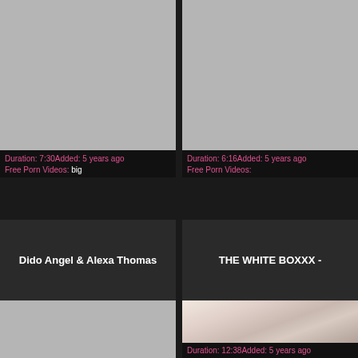[Figure (screenshot): Gray placeholder thumbnail for video]
Duration: 7:30Added: 5 years ago
Free Porn Videos: big
Dido Angel & Alexa Thomas
[Figure (screenshot): Gray placeholder thumbnail for video]
Duration: 6:16Added: 5 years ago
Free Porn Videos:
THE WHITE BOXXX -
[Figure (photo): Gray placeholder thumbnail for video]
[Figure (photo): Photo of two people in intimate pose on white surface]
Duration: 12:38Added: 5 years ago